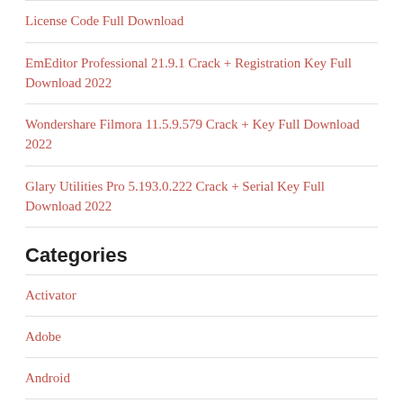License Code Full Download
EmEditor Professional 21.9.1 Crack + Registration Key Full Download 2022
Wondershare Filmora 11.5.9.579 Crack + Key Full Download 2022
Glary Utilities Pro 5.193.0.222 Crack + Serial Key Full Download 2022
Categories
Activator
Adobe
Android